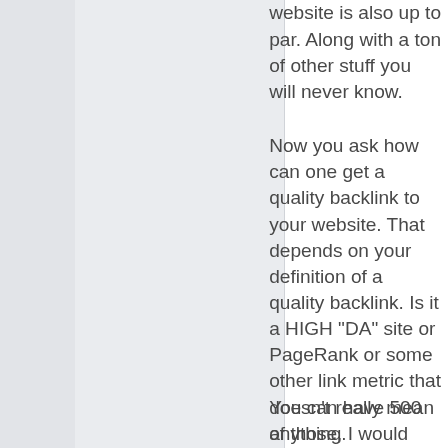website is also up to par. Along with a ton of other stuff you will never know.
Now you ask how can one get a quality backlink to your website. That depends on your definition of a quality backlink. Is it a HIGH "DA" site or PageRank or some other link metric that doesn't really mean anything.
You can have 500 of those, I would rather have one backlink that brings live traffic that buys into whatever my website it's linking to. That's a quality backlink and at the end of the day im looking for sales.
Now you can go along offering guest posts or whatnot, most people will decline if you don't pay, high traffic sites sell links even for YOUR hard crafted article to appear there seems unfair doesn't it?